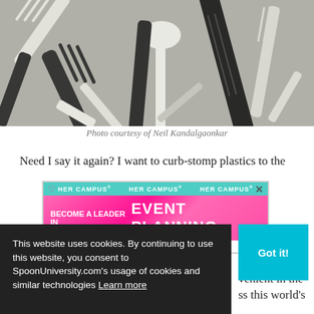[Figure (photo): A pile of plastic disposable cutlery — forks, knives, and spoons in black and white/translucent colors, tangled together.]
Photo courtesy of Neil Kandalgaonkar
Need I say it again? I want to curb-stomp plastics to the
[Figure (infographic): Her Campus advertisement banner: teal header with 'HER CAMPUS' text repeated, pink main area reading 'BECOME A LEADER IN EVENT PLANNING']
her disposable
p in landfills
venient in the
ss this world's
already-o-verflowing trash problem up...
This website uses cookies. By continuing to use this website, you consent to SpoonUniversity.com's usage of cookies and similar technologies
Learn more
Got it!